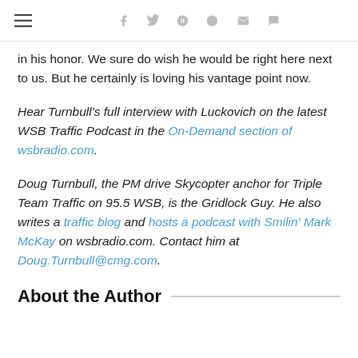hamburger menu | social icons: facebook, twitter, pinterest, reddit, email, comment
in his honor. We sure do wish he would be right here next to us. But he certainly is loving his vantage point now.
Hear Turnbull's full interview with Luckovich on the latest WSB Traffic Podcast in the On-Demand section of wsbradio.com.
Doug Turnbull, the PM drive Skycopter anchor for Triple Team Traffic on 95.5 WSB, is the Gridlock Guy. He also writes a traffic blog and hosts a podcast with Smilin' Mark McKay on wsbradio.com. Contact him at Doug.Turnbull@cmg.com.
About the Author